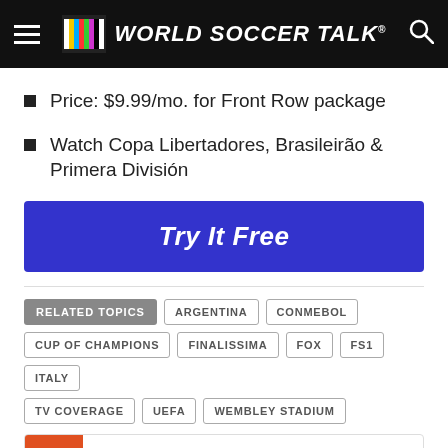World Soccer Talk
Price: $9.99/mo. for Front Row package
Watch Copa Libertadores, Brasileirão & Primera División
Try It Free
RELATED TOPICS
ARGENTINA
CONMEBOL
CUP OF CHAMPIONS
FINALISSIMA
FOX
FS1
ITALY
TV COVERAGE
UEFA
WEMBLEY STADIUM
CLICK TO COMMENT